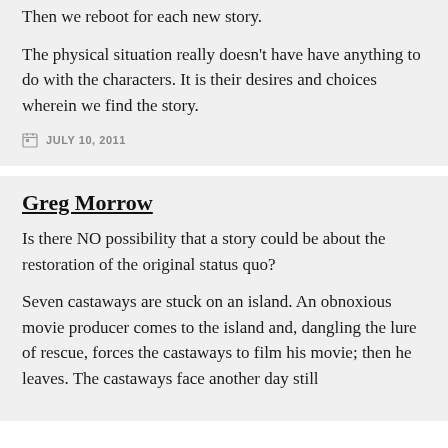Then we reboot for each new story.
The physical situation really doesn't have have anything to do with the characters. It is their desires and choices wherein we find the story.
JULY 10, 2011
Greg Morrow
Is there NO possibility that a story could be about the restoration of the original status quo?
Seven castaways are stuck on an island. An obnoxious movie producer comes to the island and, dangling the lure of rescue, forces the castaways to film his movie; then he leaves. The castaways face another day still